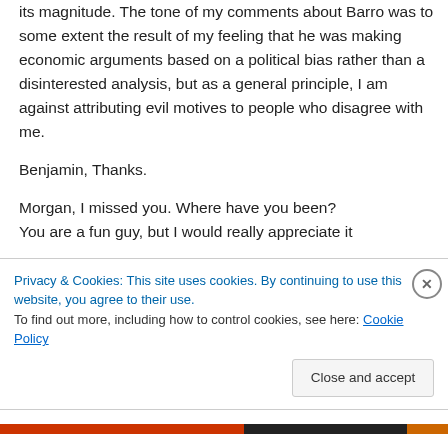its magnitude. The tone of my comments about Barro was to some extent the result of my feeling that he was making economic arguments based on a political bias rather than a disinterested analysis, but as a general principle, I am against attributing evil motives to people who disagree with me.

Benjamin, Thanks.

Morgan, I missed you. Where have you been?
You are a fun guy, but I would really appreciate it
Privacy & Cookies: This site uses cookies. By continuing to use this website, you agree to their use.
To find out more, including how to control cookies, see here: Cookie Policy

Close and accept